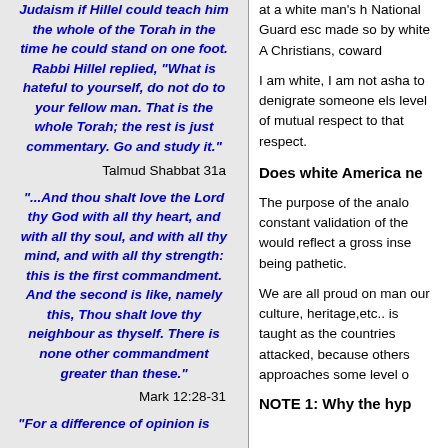Judaism if Hillel could teach him the whole of the Torah in the time he could stand on one foot. Rabbi Hillel replied, "What is hateful to yourself, do not do to your fellow man. That is the whole Torah; the rest is just commentary. Go and study it."
Talmud Shabbat 31a
"...And thou shalt love the Lord thy God with all thy heart, and with all thy soul, and with all thy mind, and with all thy strength: this is the first commandment. And the second is like, namely this, Thou shalt love thy neighbour as thyself. There is none other commandment greater than these."
Mark 12:28-31
"For a difference of opinion is
at a white man's h National Guard esc made so by white A Christians, coward
I am white, I am not asha to denigrate someone els level of mutual respect to that respect.
Does white America ne
The purpose of the analo constant validation of the would reflect a gross inse being pathetic.
We are all proud on man our culture, heritage,etc.. is taught as the countries attacked, because others approaches some level o
NOTE 1: Why the hyp